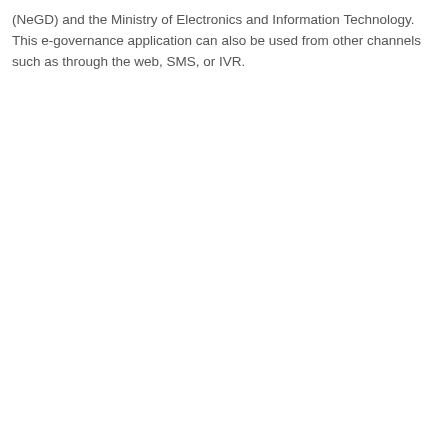(NeGD) and the Ministry of Electronics and Information Technology. This e-governance application can also be used from other channels such as through the web, SMS, or IVR.